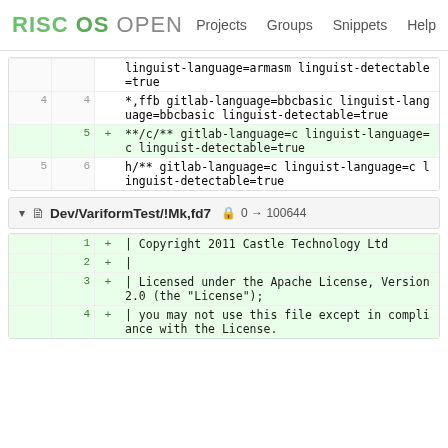RISC OS OPEN  Projects  Groups  Snippets  Help
| old | new |  | code |
| --- | --- | --- | --- |
|  |  |  | linguist-language=armasm linguist-detectable=true |
| 4 | 4 |  | *,ffb gitlab-language=bbcbasic linguist-language=bbcbasic linguist-detectable=true |
|  | 5 | + | **/c/** gitlab-language=c linguist-language=c linguist-detectable=true |
| 5 | 6 |  | h/** gitlab-language=c linguist-language=c linguist-detectable=true |
Dev/VariformTest/!Mk,fd7  0 → 100644
| old | new |  | code |
| --- | --- | --- | --- |
|  | 1 | + | | Copyright 2011 Castle Technology Ltd |
|  | 2 | + | |  |
|  | 3 | + | | Licensed under the Apache License, Version 2.0 (the "License"); |
|  | 4 | + | | you may not use this file except in compliance with the License. |